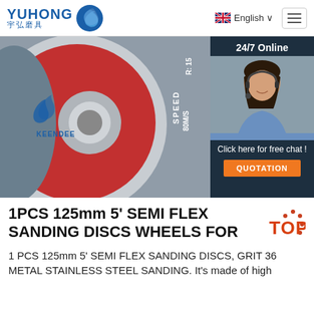[Figure (logo): YUHONG 宇弘磨具 logo with blue wave/swirl icon]
[Figure (photo): Keendee brand cutting/sanding disc (125mm, red and silver, Speed 80M/S) with warning text and barcode, alongside a 24/7 online customer service chat box showing a woman with headset]
1PCS 125mm 5' SEMI FLEX SANDING DISCS WHEELS FOR
1 PCS 125mm 5' SEMI FLEX SANDING DISCS, GRIT 36 METAL STAINLESS STEEL SANDING. It's made of high